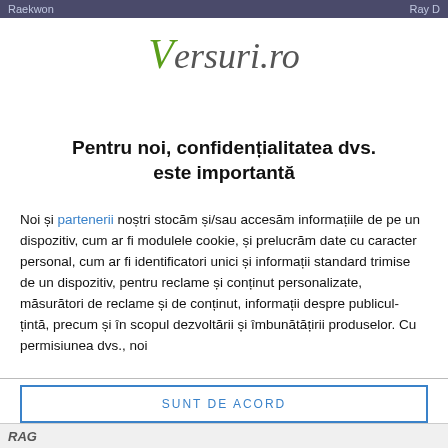Raekwon   Ray D
[Figure (logo): Versuri.ro logo with stylized italic V in green and remaining text in gray]
Pentru noi, confidențialitatea dvs. este importantă
Noi și partenerii noștri stocăm și/sau accesăm informațiile de pe un dispozitiv, cum ar fi modulele cookie, și prelucrăm date cu caracter personal, cum ar fi identificatori unici și informații standard trimise de un dispozitiv, pentru reclame și conținut personalizate, măsurători de reclame și de conținut, informații despre publicul-țintă, precum și în scopul dezvoltării și îmbunătățirii produselor. Cu permisiunea dvs., noi
SUNT DE ACORD
MAI MULTE OPȚIUNI
RAG